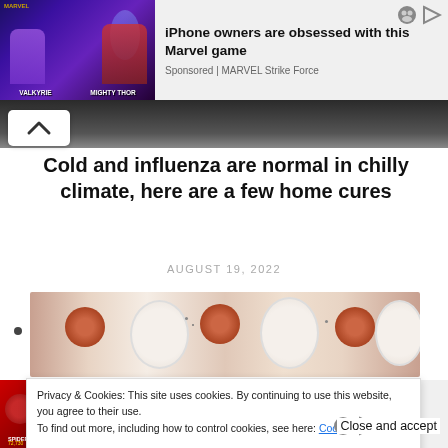[Figure (screenshot): Advertisement banner: Marvel game ad with Valkyrie and Mighty Thor characters on dark purple background]
iPhone owners are obsessed with this Marvel game
Sponsored | MARVEL Strike Force
[Figure (photo): Dark image band at top of article]
Cold and influenza are normal in chilly climate, here are a few home cures
AUGUST 19, 2022
[Figure (photo): Close-up photo of boiled eggs and red ingredients on a plate]
Privacy & Cookies: This site uses cookies. By continuing to use this website, you agree to their use.
To find out more, including how to control cookies, see here: Cookie Policy
[Figure (screenshot): Advertisement banner: Spider-Man Marvel game ad]
iPhone owners are obsessed with this Marvel game
Sponsored | MARVEL Strike Force
Close and accept